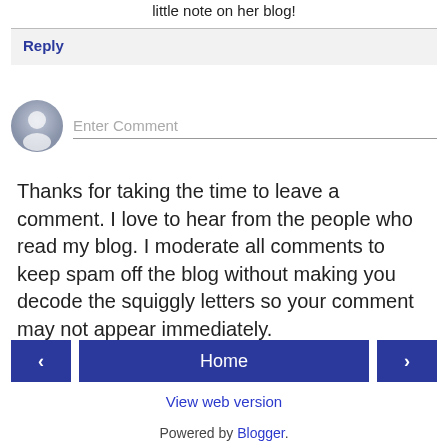little note on her blog!
Reply
[Figure (other): User avatar placeholder icon (grey silhouette) next to an 'Enter Comment' text input field with underline border]
Thanks for taking the time to leave a comment. I love to hear from the people who read my blog. I moderate all comments to keep spam off the blog without making you decode the squiggly letters so your comment may not appear immediately.
< Home >
View web version
Powered by Blogger.